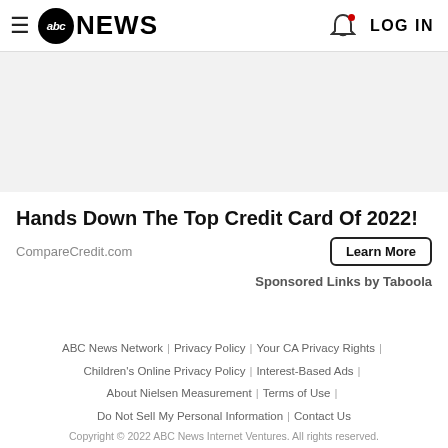abc NEWS | LOG IN
[Figure (other): Gray advertisement placeholder banner area]
Hands Down The Top Credit Card Of 2022!
CompareCredit.com
Learn More
Sponsored Links by Taboola
ABC News Network | Privacy Policy | Your CA Privacy Rights | Children's Online Privacy Policy | Interest-Based Ads | About Nielsen Measurement | Terms of Use | Do Not Sell My Personal Information | Contact Us
Copyright © 2022 ABC News Internet Ventures. All rights reserved.